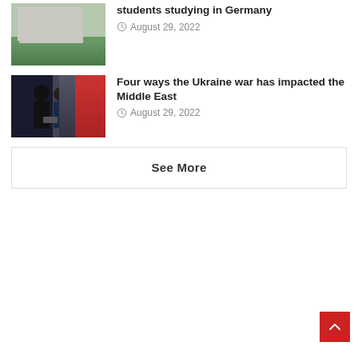[Figure (photo): University building exterior with green lawn and fountain]
students studying in Germany
August 29, 2022
[Figure (photo): Two leaders in suits shaking hands in front of Turkish and Russian flags]
Four ways the Ukraine war has impacted the Middle East
August 29, 2022
See More